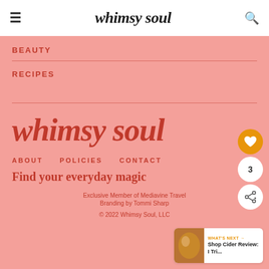whimsy soul
BEAUTY
RECIPES
whimsy soul
ABOUT   POLICIES   CONTACT
Find your everyday magic
Exclusive Member of Mediavine Travel
Branding by Tommi Sharp
© 2022 Whimsy Soul, LLC